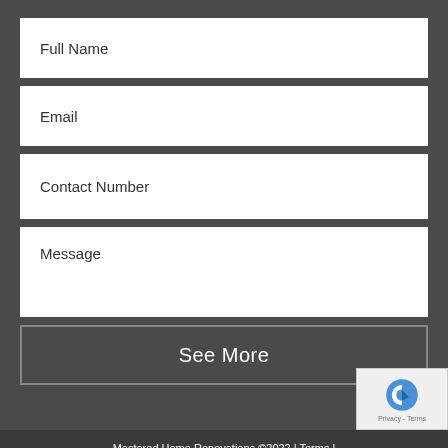Full Name
Email
Contact Number
Message
See More
Mastered Home Renovations ©2022 | Terms |